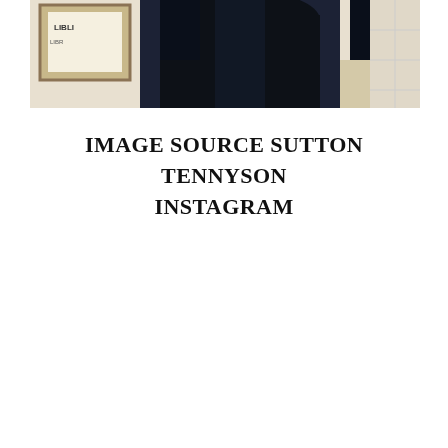[Figure (photo): A person wearing dark clothing standing in front of a wall with a framed sign or notice. The image is cropped at the top showing mostly torso and partial background with light-colored flooring visible.]
IMAGE SOURCE SUTTON TENNYSON INSTAGRAM